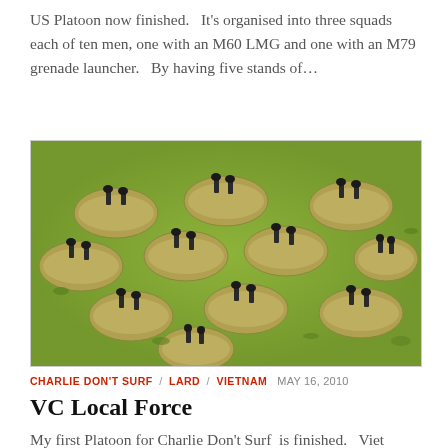US Platoon now finished.   It's organised into three squads each of ten men, one with an M60 LMG and one with an M79 grenade launcher.   By having five stands of...
[Figure (photo): Photograph of miniature wargaming figures (infantry soldiers) on round green grass bases arranged in formation on a green terrain mat]
CHARLIE DON'T SURF / LARD / VIETNAM   MAY 16, 2010
VC Local Force
My first Platoon for Charlie Don't Surf  is finished.   Viet Cong Local Force.   Now on to the US infantry. Edit: Figures are